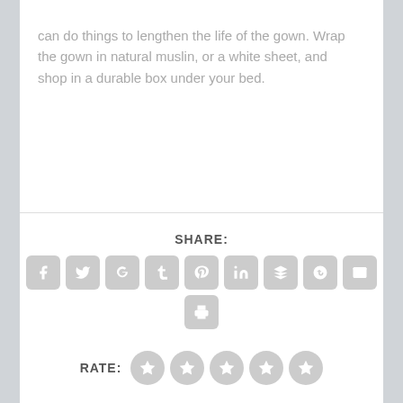can do things to lengthen the life of the gown. Wrap the gown in natural muslin, or a white sheet, and shop in a durable box under your bed.
[Figure (infographic): Social share buttons row: Facebook, Twitter, Google+, Tumblr, Pinterest, LinkedIn, Buffer/layers, StumbleUpon, Email icons in gray rounded squares, followed by a print icon. Below is a RATE label with 5 gray star-circle rating buttons.]